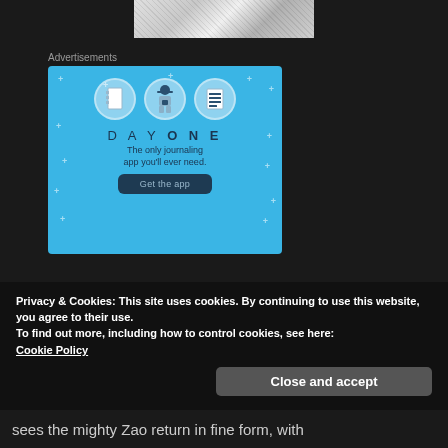[Figure (illustration): Partial manga/comic strip image at top of page]
Advertisements
[Figure (infographic): Day One journaling app advertisement. Blue background with icons (notebook, person with phone, list), text 'DAY ONE - The only journaling app you'll ever need.' and a 'Get the app' button.]
Privacy & Cookies: This site uses cookies. By continuing to use this website, you agree to their use.
To find out more, including how to control cookies, see here:
Cookie Policy
Close and accept
sees the mighty Zao return in fine form, with